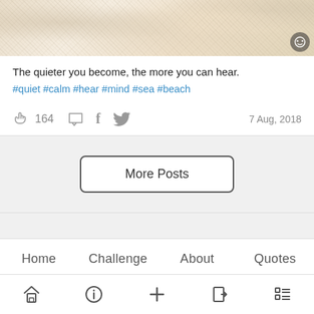[Figure (photo): Sandy beach or textured sandy surface, light beige/cream tones, with a small circular icon in the bottom right corner]
The quieter you become, the more you can hear.
#quiet #calm #hear #mind #sea #beach
164  [comment icon]  [facebook icon]  [twitter icon]  7 Aug, 2018
More Posts
Home   Challenge   About   Quotes
Login   Signup
[home icon]  [info icon]  [plus icon]  [login icon]  [grid icon]